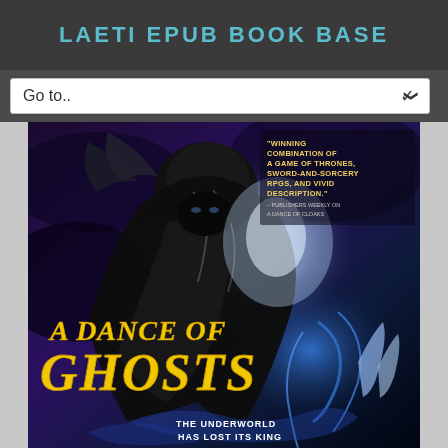LAETI EPUB BOOK BASE
Go to..
[Figure (illustration): Book cover for 'A Dance of Ghosts' featuring a dark-cloaked figure with a glowing background, yellow title text reading 'A DANCE OF GHOSTS', a quote reading 'WINNING COMBINATION OF A GAME OF THRONES, SWORD-AND-SORCERY RPGS, AND VIVID DESCRIPTION.' attributed to Publishers Weekly on A Dance of Cloaks, and tagline 'THE UNDERWORLD HAS LOST ITS KING']